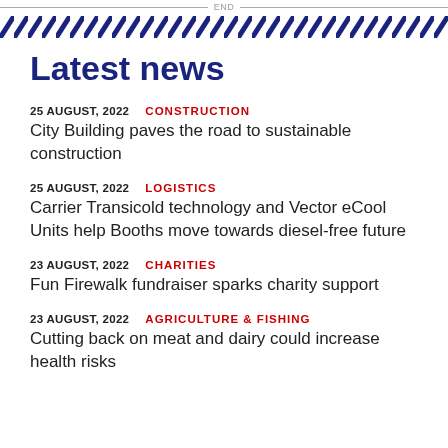END
[Figure (other): Diagonal blue and white stripe decorative banner]
Latest news
25 AUGUST, 2022   CONSTRUCTION
City Building paves the road to sustainable construction
25 AUGUST, 2022   LOGISTICS
Carrier Transicold technology and Vector eCool Units help Booths move towards diesel-free future
23 AUGUST, 2022   CHARITIES
Fun Firewalk fundraiser sparks charity support
23 AUGUST, 2022   AGRICULTURE & FISHING
Cutting back on meat and dairy could increase health risks